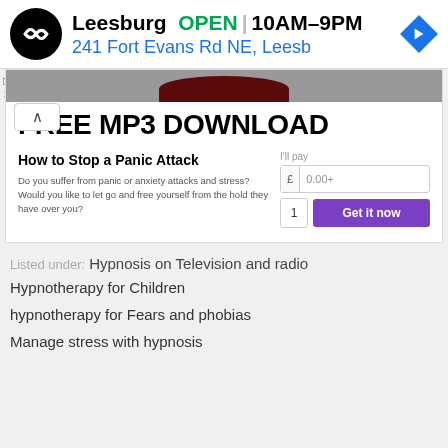[Figure (advertisement): Ad banner: Leesburg store, OPEN 10AM-9PM, 241 Fort Evans Rd NE, Leesb]
[Figure (screenshot): FREE MP3 DOWNLOAD product listing for 'How to Stop a Panic Attack' with price input and Get it now button]
Listed under:  Hypnosis on Television and radio
Hypnotherapy for Children
hypnotherapy for Fears and phobias
Manage stress with hypnosis